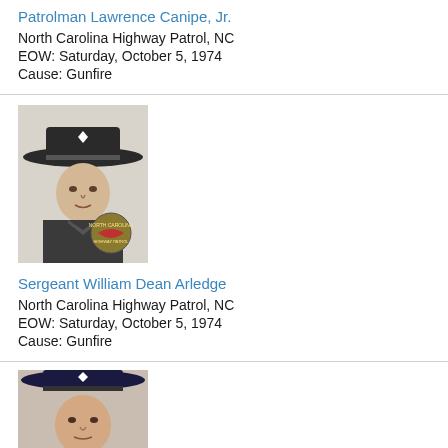Patrolman Lawrence Canipe, Jr.
North Carolina Highway Patrol, NC
EOW: Saturday, October 5, 1974
Cause: Gunfire
[Figure (photo): Black and white photo of Sergeant William Dean Arledge in uniform with campaign hat and North Carolina Highway Patrol badge overlay]
Sergeant William Dean Arledge
North Carolina Highway Patrol, NC
EOW: Saturday, October 5, 1974
Cause: Gunfire
[Figure (photo): Color photo of a third officer in uniform with campaign hat, partially visible at bottom of page]